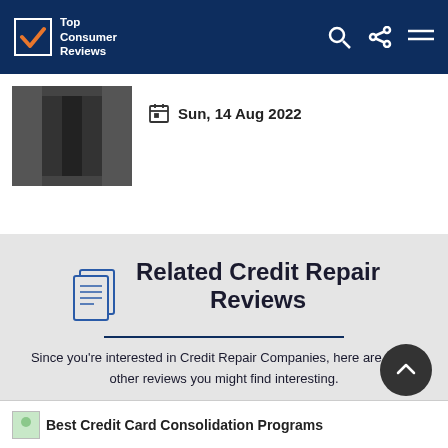Top Consumer Reviews
Sun, 14 Aug 2022
Related Credit Repair Reviews
Since you're interested in Credit Repair Companies, here are some other reviews you might find interesting.
Best Credit Card Consolidation Programs